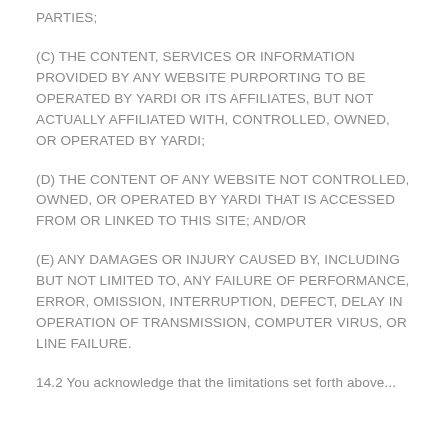PARTIES;
(C) THE CONTENT, SERVICES OR INFORMATION PROVIDED BY ANY WEBSITE PURPORTING TO BE OPERATED BY YARDI OR ITS AFFILIATES, BUT NOT ACTUALLY AFFILIATED WITH, CONTROLLED, OWNED, OR OPERATED BY YARDI;
(D) THE CONTENT OF ANY WEBSITE NOT CONTROLLED, OWNED, OR OPERATED BY YARDI THAT IS ACCESSED FROM OR LINKED TO THIS SITE; AND/OR
(E) ANY DAMAGES OR INJURY CAUSED BY, INCLUDING BUT NOT LIMITED TO, ANY FAILURE OF PERFORMANCE, ERROR, OMISSION, INTERRUPTION, DEFECT, DELAY IN OPERATION OF TRANSMISSION, COMPUTER VIRUS, OR LINE FAILURE.
14.2 You acknowledge that the limitations set forth above...